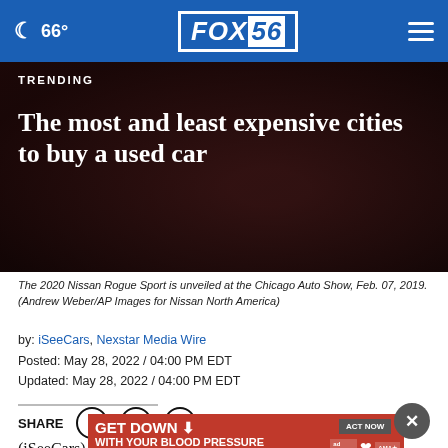🌙 66° FOX56
TRENDING
The most and least expensive cities to buy a used car
The 2020 Nissan Rogue Sport is unveiled at the Chicago Auto Show, Feb. 07, 2019. (Andrew Weber/AP Images for Nissan North America)
by: iSeeCars, Nexstar Media Wire
Posted: May 28, 2022 / 04:00 PM EDT
Updated: May 28, 2022 / 04:00 PM EDT
SHARE
[Figure (infographic): Advertisement banner: GET DOWN WITH YOUR BLOOD PRESSURE - ACT NOW, with ad council, heart, and AMA logos]
(iSeeCars) – Used car prices have declined from record